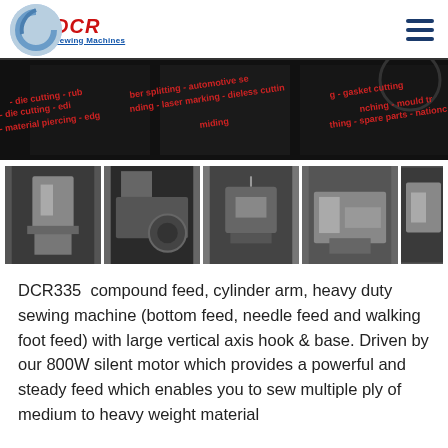[Figure (logo): DCR Sewing Machines logo with blue circle swirl and red italic DCR text]
[Figure (photo): Wide banner photo of sewing/industrial machinery with red text overlay showing services: die cutting, rubber splitting, automotive, gasket cutting, material piercing, laser marking, dieless cutting, mould, spare parts]
[Figure (photo): Strip of 5 thumbnail photos showing various heavy duty sewing machines and industrial equipment]
DCR335  compound feed, cylinder arm, heavy duty sewing machine (bottom feed, needle feed and walking foot feed) with large vertical axis hook & base. Driven by our 800W silent motor which provides a powerful and steady feed which enables you to sew multiple ply of medium to heavy weight material